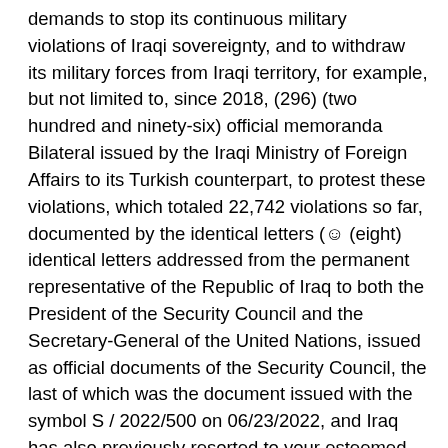demands to stop its continuous military violations of Iraqi sovereignty, and to withdraw its military forces from Iraqi territory, for example, but not limited to, since 2018, (296) (two hundred and ninety-six) official memoranda Bilateral issued by the Iraqi Ministry of Foreign Affairs to its Turkish counterpart, to protest these violations, which totaled 22,742 violations so far, documented by the identical letters (☺ (eight) identical letters addressed from the permanent representative of the Republic of Iraq to both the President of the Security Council and the Secretary-General of the United Nations, issued as official documents of the Security Council, the last of which was the document issued with the symbol S / 2022/500 on 06/23/2022, and Iraq has also previously resorted to your esteemed council to hold its session No. 7589 in 2015, regarding the Turkish military incursion into its territory.